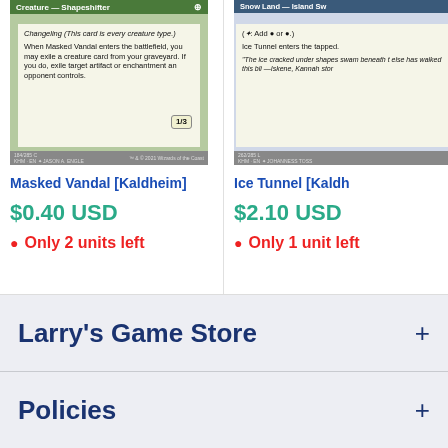[Figure (photo): Magic: The Gathering card image - Masked Vandal [Kaldheim], Creature Shapeshifter card art]
Masked Vandal [Kaldheim]
$0.40 USD
Only 2 units left
[Figure (photo): Magic: The Gathering card image - Ice Tunnel [Kaldheim], Snow Land Island Swamp card art (partially visible)]
Ice Tunnel [Kaldh...
$2.10 USD
Only 1 unit left
Larry's Game Store
Policies